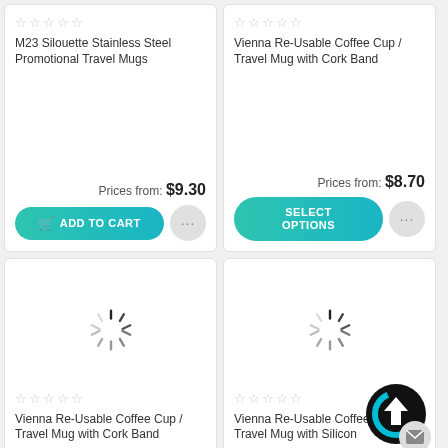[Figure (screenshot): Product card for M23 Silouette Stainless Steel Promotional Travel Mugs with price $9.30 and Add to Cart button]
[Figure (screenshot): Product card for Vienna Re-Usable Coffee Cup / Travel Mug with Cork Band with price $8.70 and Select Options button]
[Figure (screenshot): Product card loading for Vienna Re-Usable Coffee Cup / Travel Mug with Cork Band, showing spinner]
[Figure (screenshot): Product card loading for Vienna Re-Usable Coffee Cup / Travel Mug with Silicon, showing spinner and scroll-to-top/mail overlay buttons]